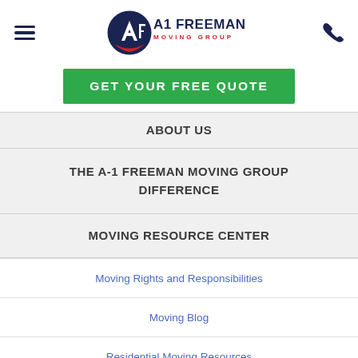[Figure (logo): A-1 Freeman Moving Group logo with circular emblem and phone icon]
GET YOUR FREE QUOTE
ABOUT US
THE A-1 FREEMAN MOVING GROUP DIFFERENCE
MOVING RESOURCE CENTER
Moving Rights and Responsibilities
Moving Blog
Residential Moving Resources